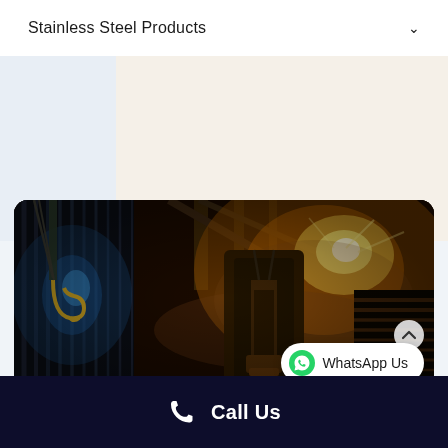Stainless Steel Products
[Figure (photo): Industrial steel factory interior showing overhead crane hook on the left with blue lighting, heavy machinery and molten metal pour in the center-right with dramatic orange/yellow glow and misty atmosphere inside a large industrial building]
WhatsApp Us
Call Us